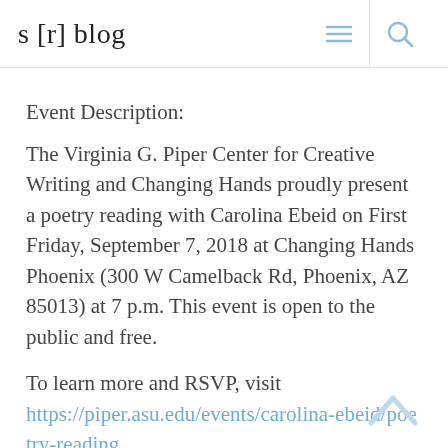s [r] blog
Event Description:
The Virginia G. Piper Center for Creative Writing and Changing Hands proudly present a poetry reading with Carolina Ebeid on First Friday, September 7, 2018 at Changing Hands Phoenix (300 W Camelback Rd, Phoenix, AZ 85013) at 7 p.m. This event is open to the public and free.
To learn more and RSVP, visit https://piper.asu.edu/events/carolina-ebeid/poetry-reading